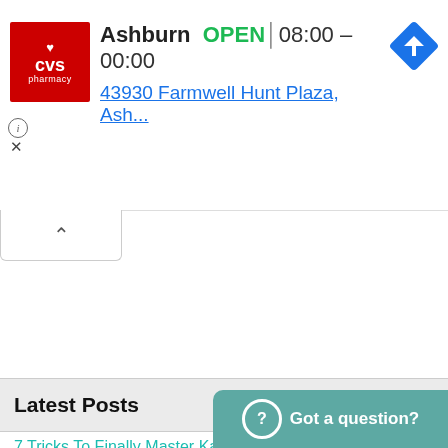[Figure (screenshot): CVS Pharmacy ad banner showing Ashburn location, OPEN status, hours 08:00-00:00, address 43930 Farmwell Hunt Plaza, Ash..., with navigation icon, info and close buttons]
[Figure (other): Collapse/chevron up tab button]
Latest Posts
7 Tricks To Finally Master Kanji
What To Say When You're Sick in Japanese
Celebrate the Holiday Season in Japanese
Learn about おわらい (Owarai, Comedy) in Japa...
[Figure (other): Got a question? chat button in teal]